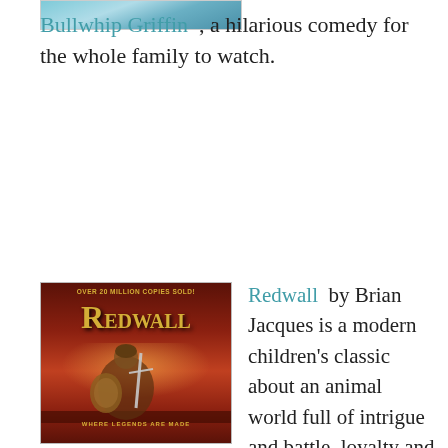[Figure (illustration): Partial view of a book or movie cover image at top left, showing a scenic watercolor-style illustration]
Bullwhip Griffin , a hilarious comedy for the whole family to watch.
[Figure (illustration): Cover of the book Redwall by Brian Jacques — red and gold medieval fantasy cover with a mouse knight, text 'Over 20 Million Copies Sold!' at top and 'Where Legends Are Made' at bottom]
Redwall by Brian Jacques is a modern children's classic about an animal world full of intrigue and battle, loyalty and